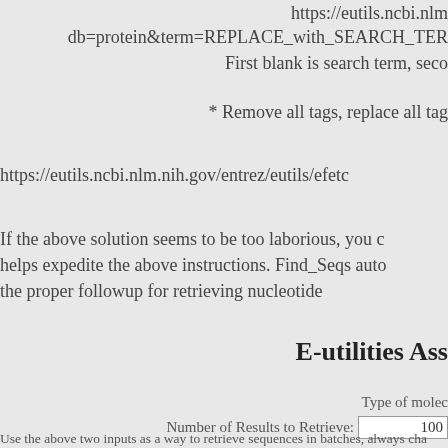https://eutils.ncbi.nlm... db=protein&term=REPLACE_with_SEARCH_TERM First blank is search term, seco...
* Remove all tag, replace all tag...
https://eutils.ncbi.nlm.nih.gov/entrez/eutils/efetch...
If the above solution seems to be too laborious, you d... helps expedite the above instructions. Find_Seqs auto... the proper followup for retrieving nucleotide...
E-utilities Ass...
Type of molec...
Number of Results to Retrieve: 100
Use the above two inputs as a way to retrieve sequences in batches, always cha...